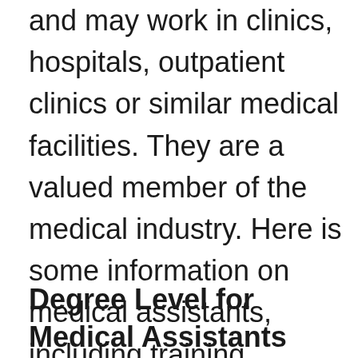and may work in clinics, hospitals, outpatient clinics or similar medical facilities. They are a valued member of the medical industry. Here is some information on medical assistants, including training programs, degree levels, duties, and career outlook.
Degree Level for Medical Assistants